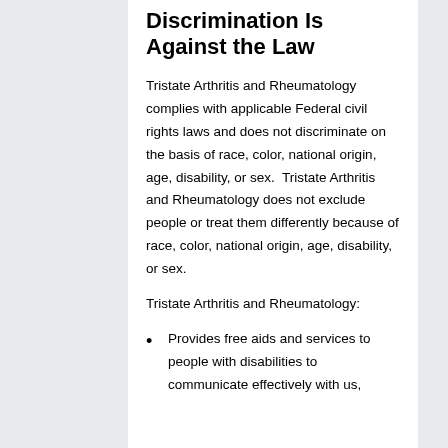Discrimination Is Against the Law
Tristate Arthritis and Rheumatology complies with applicable Federal civil rights laws and does not discriminate on the basis of race, color, national origin, age, disability, or sex.  Tristate Arthritis and Rheumatology does not exclude people or treat them differently because of race, color, national origin, age, disability, or sex.
Tristate Arthritis and Rheumatology:
Provides free aids and services to people with disabilities to communicate effectively with us,